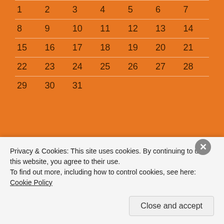| 1 | 2 | 3 | 4 | 5 | 6 | 7 |
| --- | --- | --- | --- | --- | --- | --- |
| 8 | 9 | 10 | 11 | 12 | 13 | 14 |
| 15 | 16 | 17 | 18 | 19 | 20 | 21 |
| 22 | 23 | 24 | 25 | 26 | 27 | 28 |
| 29 | 30 | 31 |  |  |  |  |
« Nov
POSTING TERBARU
12-02-06: Discussion Text.
Privacy & Cookies: This site uses cookies. By continuing to use this website, you agree to their use.
To find out more, including how to control cookies, see here: Cookie Policy
Close and accept